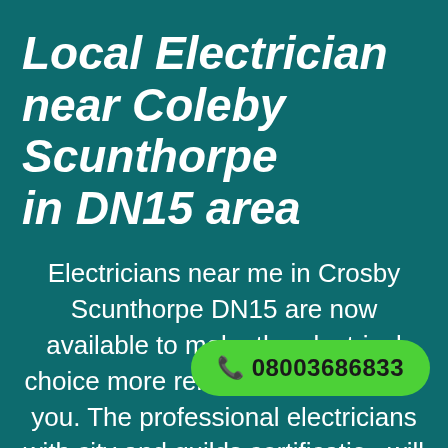Local Electrician near Coleby Scunthorpe in DN15 area
Electricians near me in Crosby Scunthorpe DN15 are now available to make the electrical choice more reliable and easier for you. The professional electricians with city and guilds certification will excel best in resolving domestic a... electrical issues. What...
08003686833